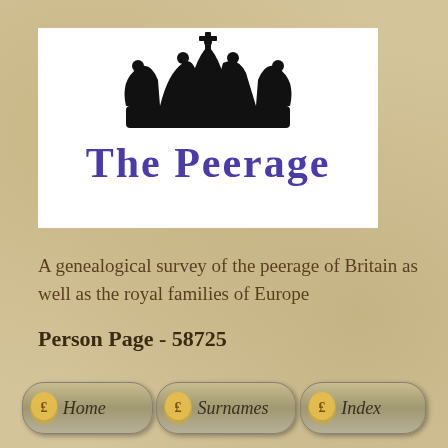[Figure (logo): The Peerage logo: black heraldic crown above text 'THE PEERAGE' in large purple serif capitals on white background]
A genealogical survey of the peerage of Britain as well as the royal families of Europe
Person Page - 58725
[Figure (other): Navigation buttons: Home, Surnames, Index — styled as rounded grey pill buttons with golden coin icons]
Home  Surnames  Index